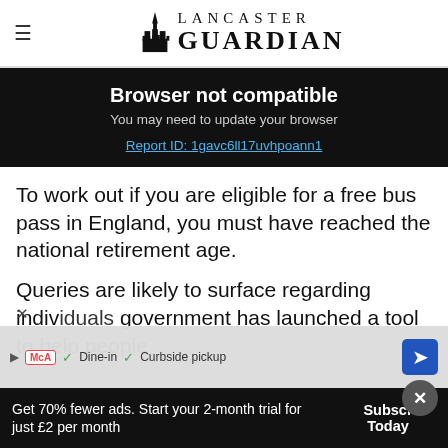Lancaster Guardian
Browser not compatible
You may need to update your browser
Report ID: 1gavc6ll17uvhpoann1
To work out if you are eligible for a free bus pass in England, you must have reached the national retirement age.
Queries are likely to surface regarding individual government has launched a tool to help people
Get 70% fewer ads. Start your 2-month trial for just £2 per month
Subscribe Today